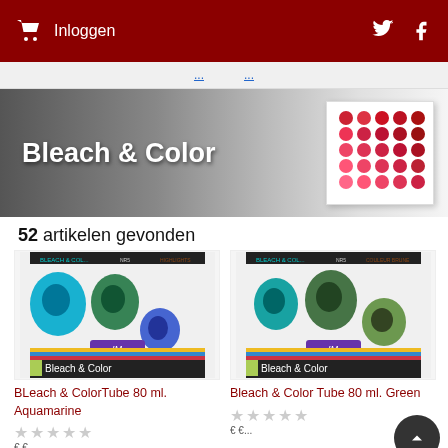Inloggen
Bleach & Color
52 artikelen gevonden
[Figure (photo): Product photo: BLeach & ColorTube 80 ml. Aquamarine hair color box with teal/blue color swatches]
BLeach & ColorTube 80 ml. Aquamarine
[Figure (photo): Product photo: Bleach & Color Tube 80 ml. Green hair color box with green color swatches]
Bleach & Color Tube 80 ml. Green